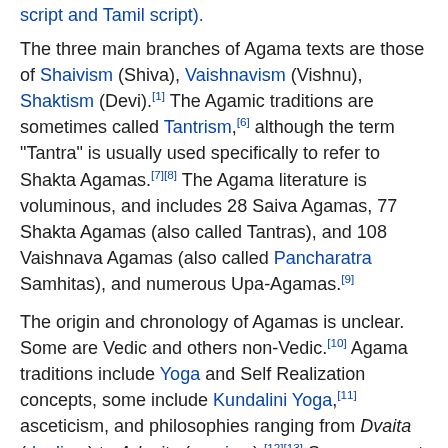script and Tamil script).
The three main branches of Agama texts are those of Shaivism (Shiva), Vaishnavism (Vishnu), Shaktism (Devi).[1] The Agamic traditions are sometimes called Tantrism,[6] although the term "Tantra" is usually used specifically to refer to Shakta Agamas.[7][8] The Agama literature is voluminous, and includes 28 Saiva Agamas, 77 Shakta Agamas (also called Tantras), and 108 Vaishnava Agamas (also called Pancharatra Samhitas), and numerous Upa-Agamas.[9]
The origin and chronology of Agamas is unclear. Some are Vedic and others non-Vedic.[10] Agama traditions include Yoga and Self Realization concepts, some include Kundalini Yoga,[11] asceticism, and philosophies ranging from Dvaita (dualism) to Advaita (monism).[12][13] Some suggest that these are post-Vedic texts, others as pre-Vedic compositions.[14][15][16] Epigraphical and